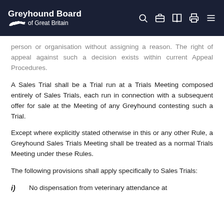Greyhound Board of Great Britain
person or organisation without assigning a reason. The right of appeal against such a decision exists within current Appeal Procedures.
A Sales Trial shall be a Trial run at a Trials Meeting composed entirely of Sales Trials, each run in connection with a subsequent offer for sale at the Meeting of any Greyhound contesting such a Trial.
Except where explicitly stated otherwise in this or any other Rule, a Greyhound Sales Trials Meeting shall be treated as a normal Trials Meeting under these Rules.
The following provisions shall apply specifically to Sales Trials:
i)  No dispensation from veterinary attendance at